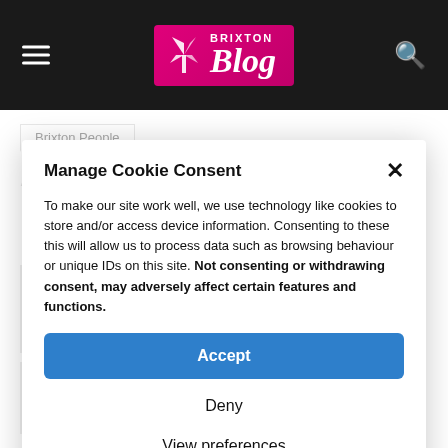Brixton Blog
Brixton People
An absolutely brilliant book ...
Manage Cookie Consent
To make our site work well, we use technology like cookies to store and/or access device information. Consenting to these this will allow us to process data such as browsing behaviour or unique IDs on this site. Not consenting or withdrawing consent, may adversely affect certain features and functions.
Accept
Lee Lavender talks to Dave Randall about his prize-winning book that recounts the police shooting of his mother Cherry Groce and its aftermath
Deny
View preferences
Cookie Policy   Brixton Media privacy policy